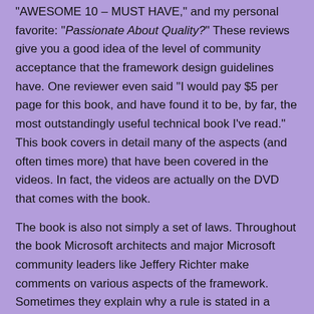"AWESOME  10 – MUST HAVE," and my personal favorite: "Passionate About Quality?"  These reviews give you a good idea of the level of community acceptance that the framework design guidelines have.  One reviewer even said "I would pay $5 per page for this book, and have found it to be, by far, the most outstandingly useful technical book I've read."  This book covers in detail many of the aspects (and often times more) that have been covered in the videos.  In fact, the videos are actually on the DVD that comes with the book.
The book is also not simply a set of laws.  Throughout the book Microsoft architects and major Microsoft community leaders like Jeffery Richter make comments on various aspects of the framework.  Sometimes they explain why a rule is stated in a certain way and other times they emphasis how crucially important a rule is.  A few of the comments in the book explain problems in the .NET framework stemming from the fact that the guidelines were still in development (people used to say C# looked like Java-- well, many people used Java's nearly obfuscated coding standard!)  At one point in the book one of the authors explains a usability study for .NET streamed and right-out admitted what most of us already know: .NET streaming is extremely non-intuitive!